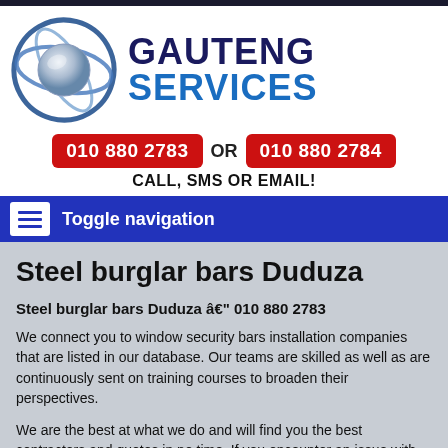[Figure (logo): Gauteng Services logo with orbiting rings around a sphere, next to company name GAUTENG SERVICES]
010 880 2783 OR 010 880 2784
CALL, SMS OR EMAIL!
Toggle navigation
Steel burglar bars Duduza
Steel burglar bars Duduza â€" 010 880 2783
We connect you to window security bars installation companies that are listed in our database. Our teams are skilled as well as are continuously sent on training courses to broaden their perspectives.
We are the best at what we do and will find you the best contractors and quotes in no time. If you encounter an issue with any window security bars installation company that was referred to you, we will be able to